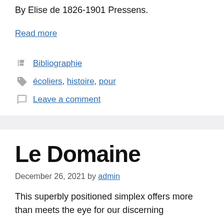By Elise de 1826-1901 Pressens.
Read more
Bibliographie
écoliers, histoire, pour
Leave a comment
Le Domaine
December 26, 2021 by admin
This superbly positioned simplex offers more than meets the eye for our discerning